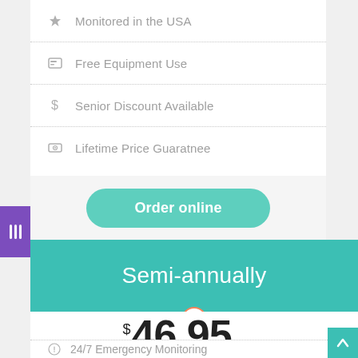Monitored in the USA
Free Equipment Use
Senior Discount Available
Lifetime Price Guaratnee
Order online
Semi-annually
$46.95 month
24/7 Emergency Monitoring